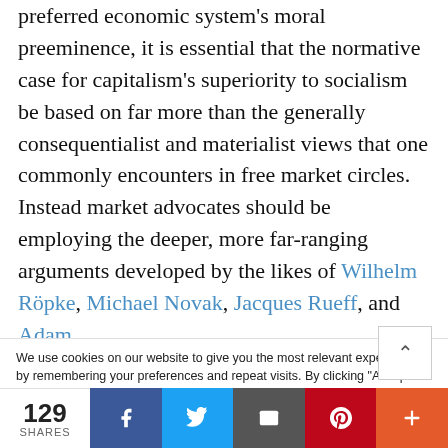preferred economic system's moral preeminence, it is essential that the normative case for capitalism's superiority to socialism be based on far more than the generally consequentialist and materialist views that one commonly encounters in free market circles. Instead market advocates should be employing the deeper, more far-ranging arguments developed by the likes of Wilhelm Röpke, Michael Novak, Jacques Rueff, and Adam
We use cookies on our website to give you the most relevant experience by remembering your preferences and repeat visits. By clicking "Accept All", you consent to the use of ALL the cookies. However, you may visit "Cookie Settings" to provide a controlled consent.